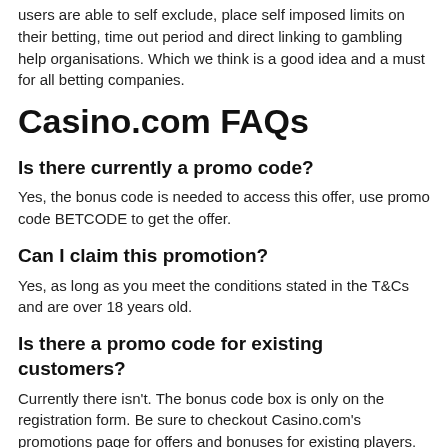users are able to self exclude, place self imposed limits on their betting, time out period and direct linking to gambling help organisations. Which we think is a good idea and a must for all betting companies.
Casino.com FAQs
Is there currently a promo code?
Yes, the bonus code is needed to access this offer, use promo code BETCODE to get the offer.
Can I claim this promotion?
Yes, as long as you meet the conditions stated in the T&Cs and are over 18 years old.
Is there a promo code for existing customers?
Currently there isn't. The bonus code box is only on the registration form. Be sure to checkout Casino.com's promotions page for offers and bonuses for existing players.